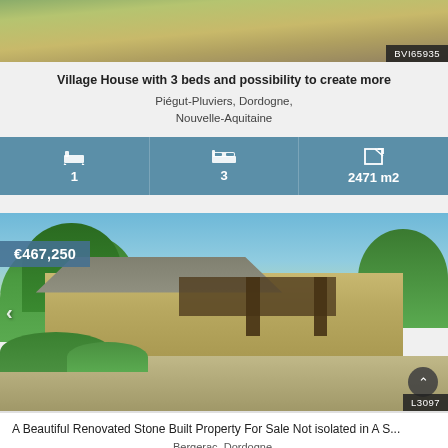[Figure (photo): Top portion of a rural property photo showing green fields and trees]
BVI65935
Village House with 3 beds and possibility to create more
Piégut-Pluviers, Dordogne, Nouvelle-Aquitaine
1  3  2471 m2
[Figure (photo): Photo of a beautiful renovated stone built property with lush greenery, stone walls, and a wooden carport structure. Price badge shows €467,250. Reference badge shows L3097.]
€467,250
L3097
A Beautiful Renovated Stone Built Property For Sale Not isolated in A S...
Bergerac, Dordogne,